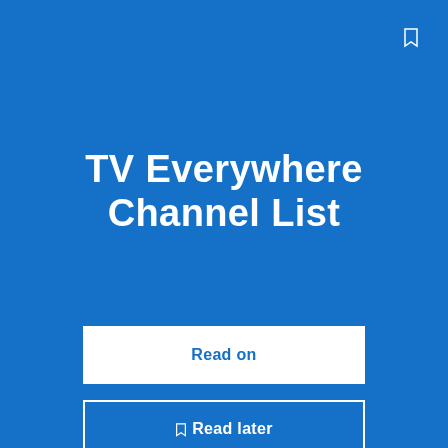TV Everywhere Channel List
Read on
🔖 Read later